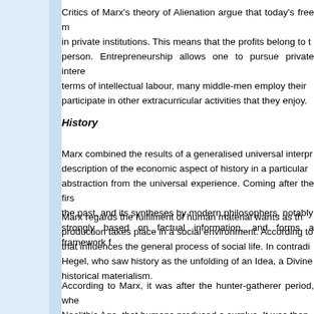Critics of Marx's theory of Alienation argue that today's free m... in private institutions. This means that the profits belong to the person. Entrepreneurship allows one to pursue private intere... terms of intellectual labour, many middle-men employ their... participate in other extracurricular activities that they enjoy.
History
Marx combined the results of a generalised universal interpr... description of the economic aspect of history in a particular abstraction from the universal experience. Coming after the firs... the past, and its syntheses by modern philosophers, notably strongly based on factual information, and forms a framework fo...
Marx regards the fulfilment of human material wants as the production takes place in a social environment. According to that influences the general process of social life. In contradi... Hegel, who saw history as the unfolding of an Idea, a Divine... historical materialism.
According to Marx, it was after the hunter-gatherer period, whe... Neolithic Age, that humans produced a surplus. It was then producers and those who lived off the surplus. These latter property, usually by force. Human slaves and land became the...